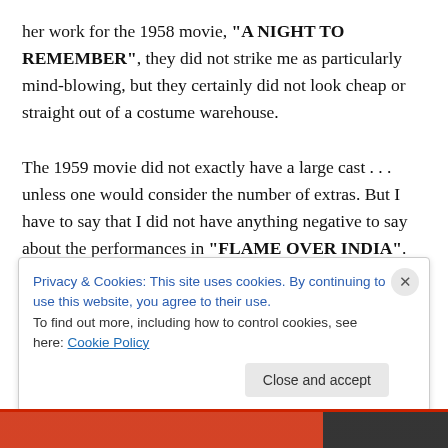her work for the 1958 movie, "A NIGHT TO REMEMBER", they did not strike me as particularly mind-blowing, but they certainly did not look cheap or straight out of a costume warehouse.

The 1959 movie did not exactly have a large cast . . . unless one would consider the number of extras. But I have to say that I did not have anything negative to say about the performances in "FLAME OVER INDIA". The movie featured solid performances from the likes of Ian Hunter, Jack Gwillim, and Basil Hoskins. Both S.M.
Privacy & Cookies: This site uses cookies. By continuing to use this website, you agree to their use.
To find out more, including how to control cookies, see here: Cookie Policy